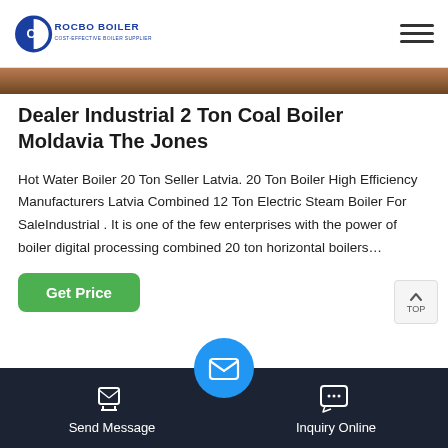[Figure (logo): Rocbo Boiler logo — circular blue icon with letter C and the text ROCBO BOILER / COST-EFFECTIVE BOILER SUPPLIER]
[Figure (photo): Top partial image strip showing a boiler or industrial equipment in warm brown tones]
Dealer Industrial 2 Ton Coal Boiler Moldavia The Jones
Hot Water Boiler 20 Ton Seller Latvia. 20 Ton Boiler High Efficiency Manufacturers Latvia Combined 12 Ton Electric Steam Boiler For SaleIndustrial . It is one of the few enterprises with the power of boiler digital processing combined 20 ton horizontal boilers…
[Figure (photo): Bottom partial photo showing industrial boiler equipment, metallic/teal tones, with an orange arrow shape]
Send Message   Inquiry Online